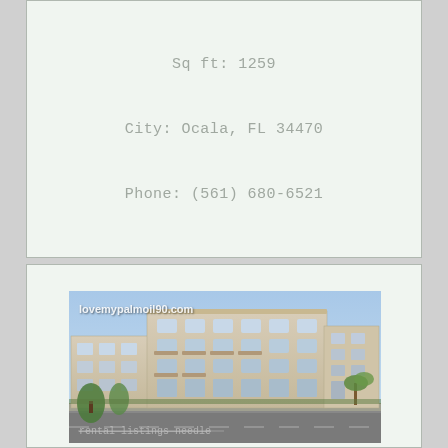Sq ft: 1259
City: Ocala, FL 34470
Phone: (561) 680-6521
[Figure (photo): Exterior photo of a multi-story apartment/condominium building with beige/tan facade, multiple balconies, arched windows, and palm trees. Watermarks read 'lovemypalmoil90.com' at top left and 'rental listings needle' at bottom left.]